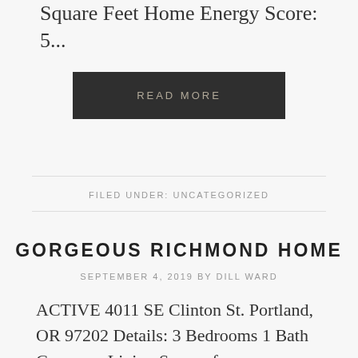Square Feet Home Energy Score: 5...
READ MORE
FILED UNDER: UNCATEGORIZED
GORGEOUS RICHMOND HOME
SEPTEMBER 4, 2019 BY DILL WARD
ACTIVE 4011 SE Clinton St. Portland, OR 97202 Details: 3 Bedrooms 1 Bath Generous Living Spaces for Entertaining Laundry on